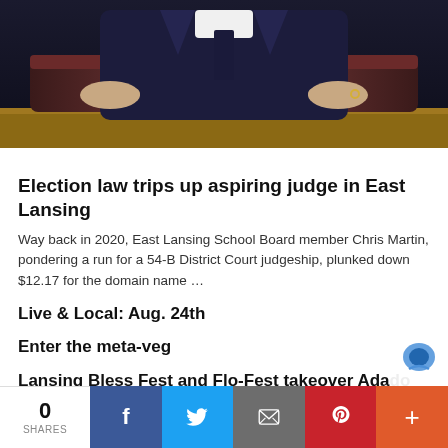[Figure (photo): Person in a dark suit seated in a maroon chair, hands resting on the armrests, one hand with a ring visible]
Election law trips up aspiring judge in East Lansing
Way back in 2020, East Lansing School Board member Chris Martin, pondering a run for a 54-B District Court judgeship, plunked down $12.17 for the domain name …
Live & Local: Aug. 24th
Enter the meta-veg
Lansing Bless Fest and Flo-Fest takeover Adado
0 SHARES | Facebook | Twitter | Email | Pinterest | More